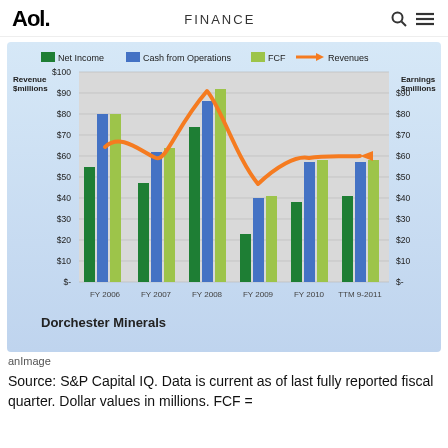Aol. FINANCE
[Figure (grouped-bar-chart): Dorchester Minerals]
anImage
Source: S&P Capital IQ. Data is current as of last fully reported fiscal quarter. Dollar values in millions. FCF =